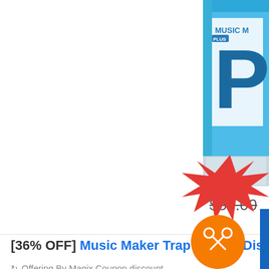[Figure (photo): Partial product box image of Music Maker Plus software with blue packaging, cropped at top-right corner]
$59.00 (strikethrough price)
[36% OFF] Music Maker Trap Edition Discount code
Offering By Magix Coupon discount
[Figure (photo): Partial coupon/discount image with red star burst and orange circle with scissors icon at bottom-right corner]